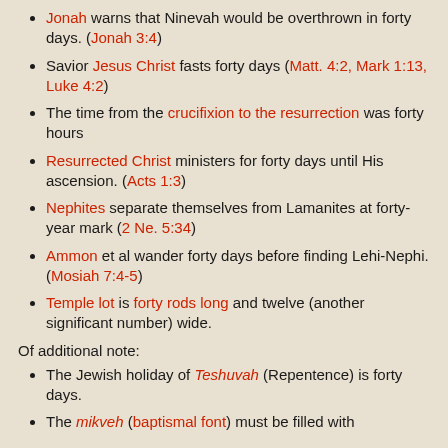Jonah warns that Ninevah would be overthrown in forty days. (Jonah 3:4)
Savior Jesus Christ fasts forty days (Matt. 4:2, Mark 1:13, Luke 4:2)
The time from the crucifixion to the resurrection was forty hours
Resurrected Christ ministers for forty days until His ascension. (Acts 1:3)
Nephites separate themselves from Lamanites at forty-year mark (2 Ne. 5:34)
Ammon et al wander forty days before finding Lehi-Nephi. (Mosiah 7:4-5)
Temple lot is forty rods long and twelve (another significant number) wide.
Of additional note:
The Jewish holiday of Teshuvah (Repentence) is forty days.
The mikveh (baptismal font) must be filled with